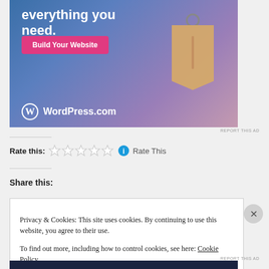[Figure (illustration): WordPress.com advertisement banner with blue-purple gradient background, text 'everything you need.', a pink 'Build Your Website' button, a price tag graphic, and WordPress.com logo]
REPORT THIS AD
Rate this: ☆ ☆ ☆ ☆ ☆ ℹ Rate This
Share this:
Privacy & Cookies: This site uses cookies. By continuing to use this website, you agree to their use.
To find out more, including how to control cookies, see here: Cookie Policy
Close and accept